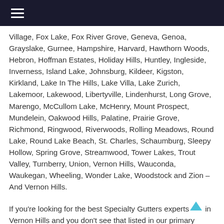≡ (hamburger menu icon)
Village, Fox Lake, Fox River Grove, Geneva, Genoa, Grayslake, Gurnee, Hampshire, Harvard, Hawthorn Woods, Hebron, Hoffman Estates, Holiday Hills, Huntley, Ingleside, Inverness, Island Lake, Johnsburg, Kildeer, Kigston, Kirkland, Lake In The Hills, Lake Villa, Lake Zurich, Lakemoor, Lakewood, Libertyville, Lindenhurst, Long Grove, Marengo, McCullom Lake, McHenry, Mount Prospect, Mundelein, Oakwood Hills, Palatine, Prairie Grove, Richmond, Ringwood, Riverwoods, Rolling Meadows, Round Lake, Round Lake Beach, St. Charles, Schaumburg, Sleepy Hollow, Spring Grove, Streamwood, Tower Lakes, Trout Valley, Turnberry, Union, Vernon Hills, Wauconda, Waukegan, Wheeling, Wonder Lake, Woodstock and Zion – And Vernon Hills.
If you're looking for the best Specialty Gutters experts in Vernon Hills and you don't see that listed in our primary